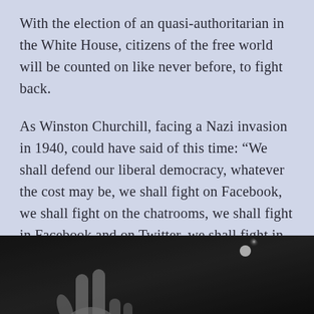With the election of an quasi-authoritarian in the White House, citizens of the free world will be counted on like never before, to fight back.
As Winston Churchill, facing a Nazi invasion in 1940, could have said of this time: “We shall defend our liberal democracy, whatever the cost may be, we shall fight on Facebook, we shall fight on the chatrooms, we shall fight in Facebook and on Twitter, we shall fight in the 4Chan and Reddit; we shall never surrender.”
[Figure (photo): Black and white photo showing a hand making a V (peace/victory) sign gesture, with a bright light visible in the dark background on the right side.]